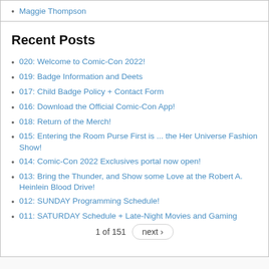Maggie Thompson
Recent Posts
020: Welcome to Comic-Con 2022!
019: Badge Information and Deets
017: Child Badge Policy + Contact Form
016: Download the Official Comic-Con App!
018: Return of the Merch!
015: Entering the Room Purse First is ... the Her Universe Fashion Show!
014: Comic-Con 2022 Exclusives portal now open!
013: Bring the Thunder, and Show some Love at the Robert A. Heinlein Blood Drive!
012: SUNDAY Programming Schedule!
011: SATURDAY Schedule + Late-Night Movies and Gaming
1 of 151  next ›